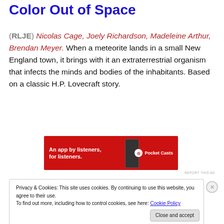Color Out of Space
(RLJE) Nicolas Cage, Joely Richardson, Madeleine Arthur, Brendan Meyer. When a meteorite lands in a small New England town, it brings with it an extraterrestrial organism that infects the minds and bodies of the inhabitants. Based on a classic H.P. Lovecraft story.
[Figure (other): Pocket Casts advertisement banner with red background. Text: 'An app by listeners, for listeners.' with Pocket Casts logo and phone graphic.]
REPORT THIS AD
Privacy & Cookies: This site uses cookies. By continuing to use this website, you agree to their use.
To find out more, including how to control cookies, see here: Cookie Policy
Close and accept